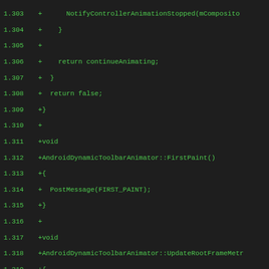[Figure (screenshot): Code diff viewer showing C++ source lines 1.303–1.335, all prefixed with '+' indicating added lines, displayed in green monospace font on dark background. Code includes AndroidDynamicToolbarAnimator methods: FirstPaint, UpdateRootFrameMetrics, EnableLayersUpdateNotifications.]